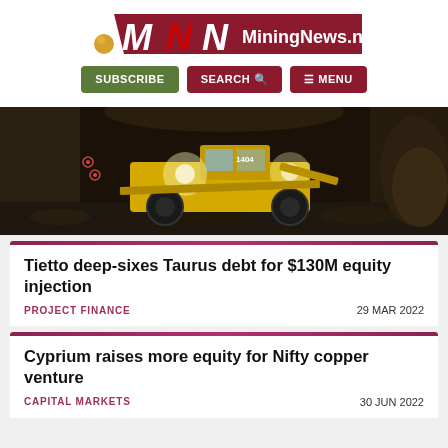[Figure (logo): MiningNews.net logo with red banner and stylized MNN letters with gold nugget icon]
SUBSCRIBE  SEARCH  MENU
[Figure (photo): Underground mine with large yellow mining vehicle/grader illuminated by headlights in dark tunnel]
Tietto deep-sixes Taurus debt for $130M equity injection
PROJECT FINANCE   29 MAR 2022
Cyprium raises more equity for Nifty copper venture
CAPITAL MARKETS   30 JUN 2022